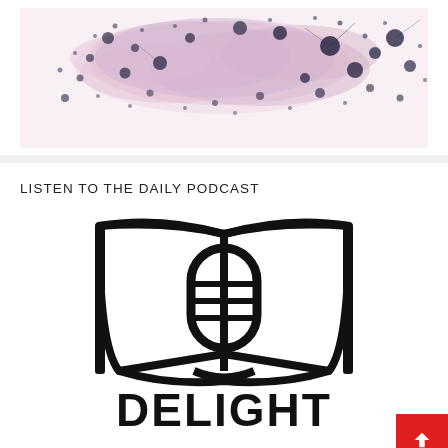[Figure (photo): Watercolor splatter artwork in pink and lavender tones with dark blue/navy dots and splatters scattered across the image]
LISTEN TO THE DAILY PODCAST
[Figure (logo): Delight podcast logo — an open book with a microphone overlaid in the center, and the word DELIGHT in bold block letters below]